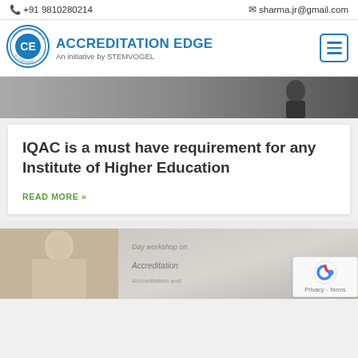+91 9810280214   sharma.jr@gmail.com
[Figure (logo): Accreditation Edge circular logo with CE monogram and blue border]
ACCREDITATION EDGE
An initiative by STEMVOGEL
[Figure (photo): Hero image strip showing a person in the background]
IQAC is a must have requirement for any Institute of Higher Education
READ MORE »
[Figure (photo): Bottom strip with a speaker at a podium and a banner reading 'Day workshop on Accreditation']
[Figure (other): Google reCAPTCHA badge with Privacy - Terms text]